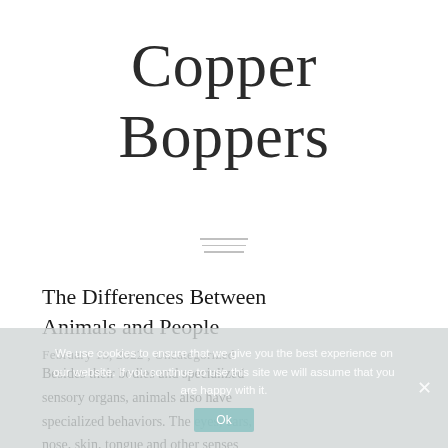Copper Boppers
[Figure (other): Three horizontal lines (hamburger/menu icon) in light gray, centered on the page]
The Differences Between Animals and People
February 15, 2022 , Uncategorized
Besides their bodies and specialized sensory organs, animals also have specialized behaviors. The eyes, ears, nose, skin, tongue and other senses
We use cookies to ensure that we give you the best experience on our website. If you continue to use this site we will assume that you are happy with it.